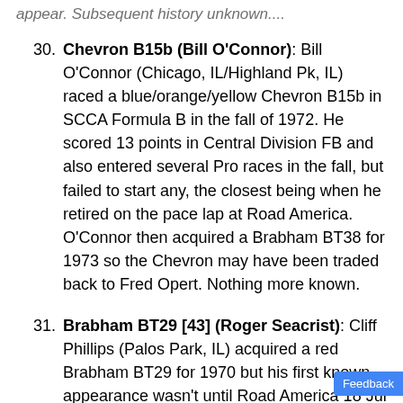appear. Subsequent history unknown....
30. Chevron B15b (Bill O'Connor): Bill O'Connor (Chicago, IL/Highland Pk, IL) raced a blue/orange/yellow Chevron B15b in SCCA Formula B in the fall of 1972. He scored 13 points in Central Division FB and also entered several Pro races in the fall, but failed to start any, the closest being when he retired on the pace lap at Road America. O'Connor then acquired a Brabham BT38 for 1973 so the Chevron may have been traded back to Fred Opert. Nothing more known.
31. Brabham BT29 [43] (Roger Seacrist): Cliff Phillips (Palos Park, IL) acquired a red Brabham BT29 for 1970 but his first known appearance wasn't until Road America 18 Jul 1970 where he recorded 41st fastest time. The car appeared o...